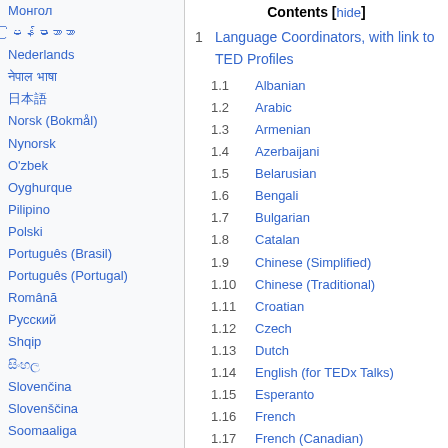Монгол
မြန်မာဘာသာ
Nederlands
नेपाल भाषा
日本語
Norsk (Bokmål)
Nynorsk
O'zbek
Oyghurque
Pilipino
Polski
Português (Brasil)
Português (Portugal)
Română
Русский
Shqip
සිංහල
Slovenčina
Slovenščina
Soomaaliga
Српски / Srpski
Suomi
Svenska
Contents [hide]
1 Language Coordinators, with link to TED Profiles
1.1 Albanian
1.2 Arabic
1.3 Armenian
1.4 Azerbaijani
1.5 Belarusian
1.6 Bengali
1.7 Bulgarian
1.8 Catalan
1.9 Chinese (Simplified)
1.10 Chinese (Traditional)
1.11 Croatian
1.12 Czech
1.13 Dutch
1.14 English (for TEDx Talks)
1.15 Esperanto
1.16 French
1.17 French (Canadian)